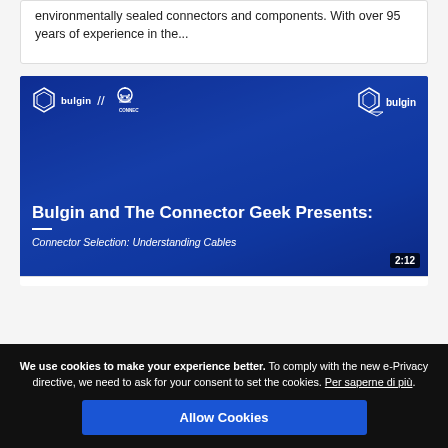environmentally sealed connectors and components. With over 95 years of experience in the...
[Figure (screenshot): Video thumbnail for 'Bulgin and The Connector Geek Presents: Connector Selection: Understanding Cables' - blue-tinted video with man in glasses, Bulgin logo top left and top right, duration 2:12]
We use cookies to make your experience better. To comply with the new e-Privacy directive, we need to ask for your consent to set the cookies. Per saperne di più. Allow Cookies